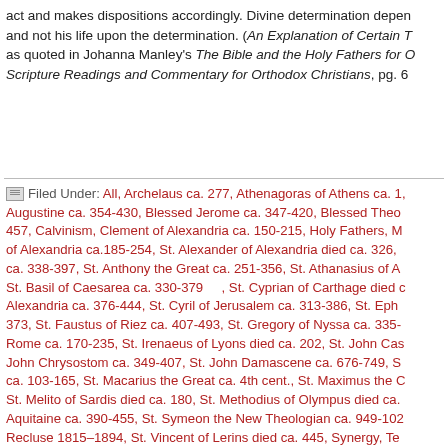act and makes dispositions accordingly. Divine determination depends and not his life upon the determination. (An Explanation of Certain Things as quoted in Johanna Manley's The Bible and the Holy Fathers for Orthodox Scripture Readings and Commentary for Orthodox Christians, pg. 6
Filed Under: All, Archelaus ca. 277, Athenagoras of Athens ca. 1, Augustine ca. 354-430, Blessed Jerome ca. 347-420, Blessed Theo 457, Calvinism, Clement of Alexandria ca. 150-215, Holy Fathers, M of Alexandria ca.185-254, St. Alexander of Alexandria died ca. 326, ca. 338-397, St. Anthony the Great ca. 251-356, St. Athanasius of A St. Basil of Caesarea ca. 330-379, St. Cyprian of Carthage died c Alexandria ca. 376-444, St. Cyril of Jerusalem ca. 313-386, St. Eph 373, St. Faustus of Riez ca. 407-493, St. Gregory of Nyssa ca. 335- Rome ca. 170-235, St. Irenaeus of Lyons died ca. 202, St. John Cas John Chrysostom ca. 349-407, St. John Damascene ca. 676-749, S ca. 103-165, St. Macarius the Great ca. 4th cent., St. Maximus the C St. Melito of Sardis died ca. 180, St. Methodius of Olympus died ca. Aquitaine ca. 390-455, St. Symeon the New Theologian ca. 949-102 Recluse 1815–1894, St. Vincent of Lerins died ca. 445, Synergy, Te 160-220, Theophilus of Antioch ca. 2nd century